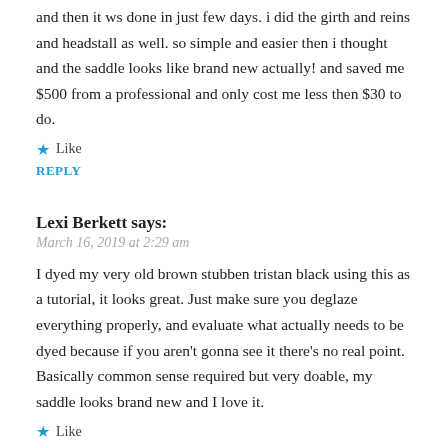and then it ws done in just few days. i did the girth and reins and headstall as well. so simple and easier then i thought and the saddle looks like brand new actually! and saved me $500 from a professional and only cost me less then $30 to do.
★ Like
REPLY
Lexi Berkett says:
March 16, 2019 at 2:29 am
I dyed my very old brown stubben tristan black using this as a tutorial, it looks great. Just make sure you deglaze everything properly, and evaluate what actually needs to be dyed because if you aren't gonna see it there's no real point. Basically common sense required but very doable, my saddle looks brand new and I love it.
★ Like
REPLY